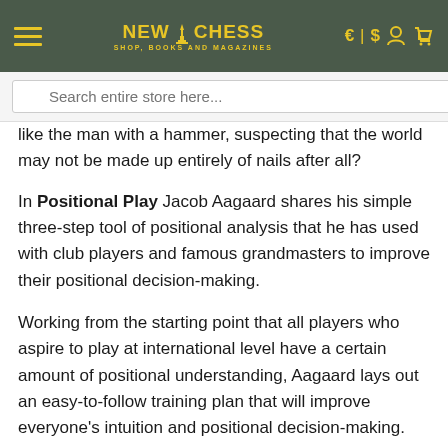NEW IN CHESS — SHOP, BOOKS AND MAGAZINES
Search entire store here...
like the man with a hammer, suspecting that the world may not be made up entirely of nails after all?
In Positional Play Jacob Aagaard shares his simple three-step tool of positional analysis that he has used with club players and famous grandmasters to improve their positional decision-making.
Working from the starting point that all players who aspire to play at international level have a certain amount of positional understanding, Aagaard lays out an easy-to-follow training plan that will improve everyone's intuition and positional decision-making.